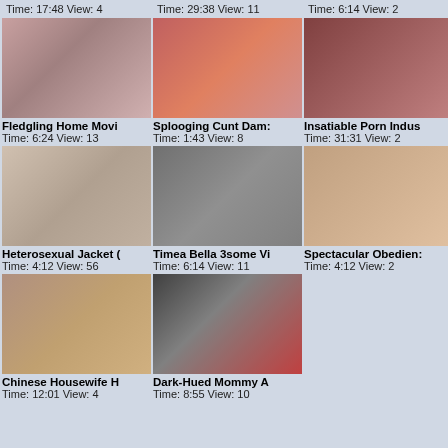Time: 17:48 View: 4
Time: 29:38 View: 11
Time: 6:14 View: 2
[Figure (photo): Adult video thumbnail 1]
[Figure (photo): Adult video thumbnail 2]
[Figure (photo): Adult video thumbnail 3]
Fledgling Home Movi
Time: 6:24 View: 13
Splooging Cunt Dam:
Time: 1:43 View: 8
Insatiable Porn Indus
Time: 31:31 View: 2
[Figure (photo): Adult video thumbnail 4]
[Figure (photo): Adult video thumbnail 5]
[Figure (photo): Adult video thumbnail 6]
Heterosexual Jacket
Time: 4:12 View: 56
Timea Bella 3some Vi
Time: 6:14 View: 11
Spectacular Obedien:
Time: 4:12 View: 2
[Figure (photo): Adult video thumbnail 7]
[Figure (photo): Adult video thumbnail 8]
Chinese Housewife H
Time: 12:01 View: 4
Dark-Hued Mommy A
Time: 8:55 View: 10